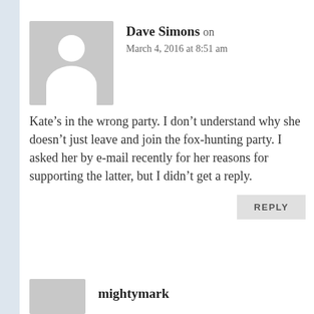[Figure (photo): Gray placeholder avatar silhouette for user Dave Simons]
Dave Simons on
March 4, 2016 at 8:51 am
Kate’s in the wrong party. I don’t understand why she doesn’t just leave and join the fox-hunting party. I asked her by e-mail recently for her reasons for supporting the latter, but I didn’t get a reply.
REPLY
[Figure (photo): Gray placeholder avatar silhouette for user mightymark]
mightymark